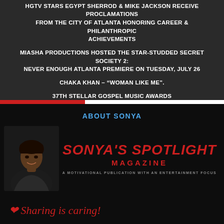HGTV STARS EGYPT SHERROD & MIKE JACKSON RECEIVE PROCLAMATIONS FROM THE CITY OF ATLANTA HONORING CAREER & PHILANTHROPIC ACHIEVEMENTS
MIASHA PRODUCTIONS HOSTED THE STAR-STUDDED SECRET SOCIETY 2: NEVER ENOUGH ATLANTA PREMIERE ON TUESDAY, JULY 26
CHAKA KHAN – “WOMAN LIKE ME”.
37TH STELLAR GOSPEL MUSIC AWARDS
ABOUT SONYA
[Figure (photo): Portrait photo of a woman (Sonya) smiling, wearing a dark jacket, with dark hair]
SONYA'S SPOTLIGHT MAGAZINE
A MOTIVATIONAL PUBLICATION WITH AN ENTERTAINMENT FOCUS
HOME PAGE
Sharing is caring!